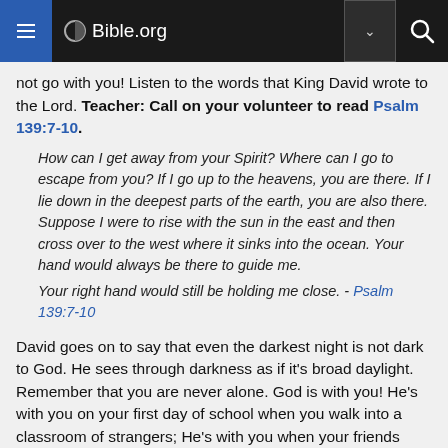Bible.org
not go with you! Listen to the words that King David wrote to the Lord. Teacher: Call on your volunteer to read Psalm 139:7-10.
How can I get away from your Spirit? Where can I go to escape from you? If I go up to the heavens, you are there. If I lie down in the deepest parts of the earth, you are also there. Suppose I were to rise with the sun in the east and then cross over to the west where it sinks into the ocean. Your hand would always be there to guide me. Your right hand would still be holding me close. - Psalm 139:7-10
David goes on to say that even the darkest night is not dark to God. He sees through darkness as if it's broad daylight. Remember that you are never alone. God is with you! He's with you on your first day of school when you walk into a classroom of strangers; He's with you when your friends